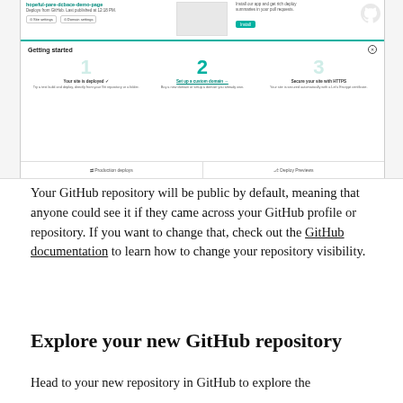[Figure (screenshot): Screenshot of a Netlify dashboard showing a deployed site panel with 'Getting started' section containing 3 steps: 'Your site is deployed', 'Set up a custom domain', and 'Secure your site with HTTPS'. Below is a footer with 'Production deploys' and 'Deploy Previews' tabs.]
Your GitHub repository will be public by default, meaning that anyone could see it if they came across your GitHub profile or repository. If you want to change that, check out the GitHub documentation to learn how to change your repository visibility.
Explore your new GitHub repository
Head to your new repository in GitHub to explore the